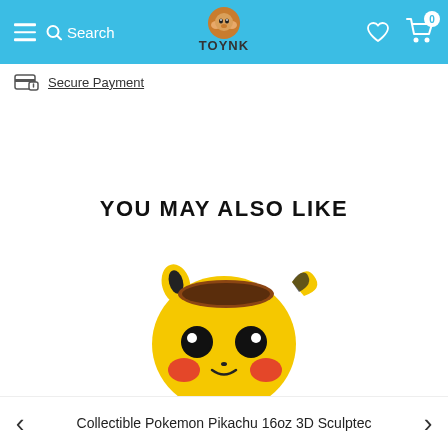TOYNK — Search
Secure Payment
YOU MAY ALSO LIKE
[Figure (photo): Collectible Pokemon Pikachu 16oz 3D Sculpted ceramic mug shaped like Pikachu's face, yellow with black eyes and red cheeks]
Collectible Pokemon Pikachu 16oz 3D Sculpted Mug